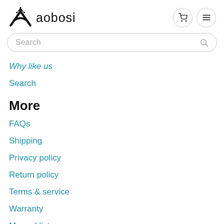aobosi
Search
Why like us
Search
More
FAQs
Shipping
Privacy policy
Return policy
Terms & service
Warranty
Manual list
Keep in Touch